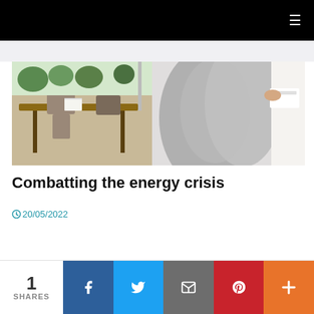≡
[Figure (photo): Split image: left side shows a wooden dining table with chairs and plants in background; right side shows a person in gray sweater adjusting a wall panel or thermostat]
Combatting the energy crisis
20/05/2022
1 SHARES | Facebook | Twitter | Email | Pinterest | More